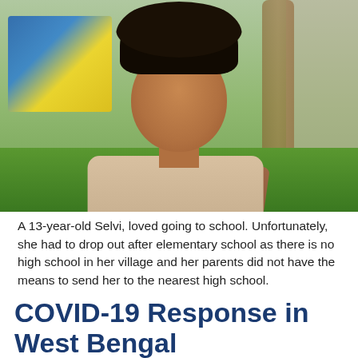[Figure (photo): Portrait photo of a 13-year-old girl named Selvi, smiling at the camera, with curly dark hair, wearing a light beige vest over a plaid shirt. She is standing outdoors in front of green grass, a colorful sign/billboard, and a tree or wall in the background.]
A 13-year-old Selvi, loved going to school. Unfortunately, she had to drop out after elementary school as there is no high school in her village and her parents did not have the means to send her to the nearest high school.
COVID-19 Response in West Bengal